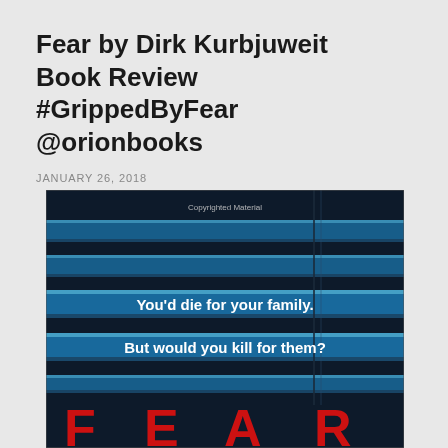Fear by Dirk Kurbjuweit Book Review #GrippedByFear @orionbooks
JANUARY 26, 2018
[Figure (photo): Book cover of 'Fear' by Dirk Kurbjuweit showing venetian blinds on a dark background with blue light streaks, white text reading 'You'd die for your family. But would you kill for them?' and large red letters spelling FEAR at the bottom. A 'Copyrighted Material' watermark is at the top.]